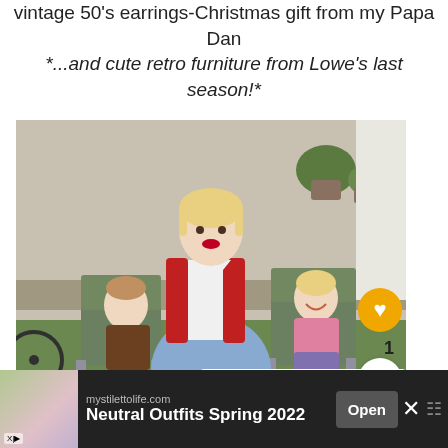vintage 50's earrings-Christmas gift from my Papa Dan
*...and cute retro furniture from Lowe's last season!*
[Figure (photo): Woman in red cardigan and blue skirt sitting on retro green metal chair outdoors, flanked by two young children also in green chairs. Background shows a house exterior with greenery and pots.]
WHAT'S NEXT → Early Morning Alley
mystilettolife.com Neutral Outfits Spring 2022 Open